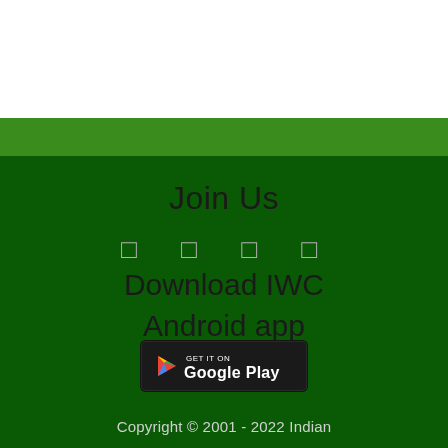Join Us
[Figure (illustration): Social media icons row (4 icons in outline/box style)]
Download IWC Android app
[Figure (logo): Get it on Google Play button badge]
Copyright © 2001 - 2022 Indian